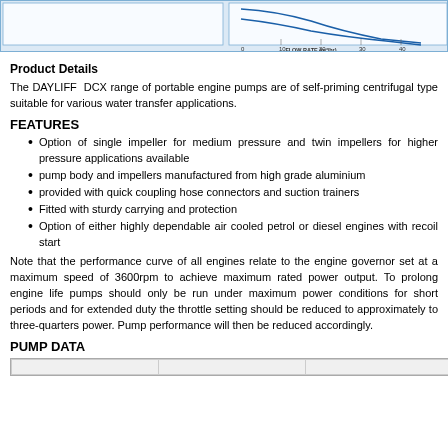[Figure (continuous-plot): Top strip showing a performance curve chart with flow rate on x-axis (0 to 40 m³/hr) and pressure/head on y-axis, with blue declining curves. Chart has light blue background with blue border.]
Product Details
The DAYLIFF DCX range of portable engine pumps are of self-priming centrifugal type suitable for various water transfer applications.
FEATURES
Option of single impeller for medium pressure and twin impellers for higher pressure applications available
pump body and impellers manufactured from high grade aluminium
provided with quick coupling hose connectors and suction trainers
Fitted with sturdy carrying and protection
Option of either highly dependable air cooled petrol or diesel engines with recoil start
Note that the performance curve of all engines relate to the engine governor set at a maximum speed of 3600rpm to achieve maximum rated power output. To prolong engine life pumps should only be run under maximum power conditions for short periods and for extended duty the throttle setting should be reduced to approximately to three-quarters power. Pump performance will then be reduced accordingly.
PUMP DATA